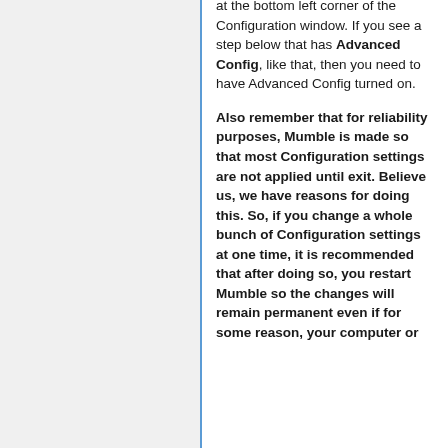at the bottom left corner of the Configuration window. If you see a step below that has Advanced Config, like that, then you need to have Advanced Config turned on.
Also remember that for reliability purposes, Mumble is made so that most Configuration settings are not applied until exit. Believe us, we have reasons for doing this. So, if you change a whole bunch of Configuration settings at one time, it is recommended that after doing so, you restart Mumble so the changes will remain permanent even if for some reason, your computer or Mumble crashes.